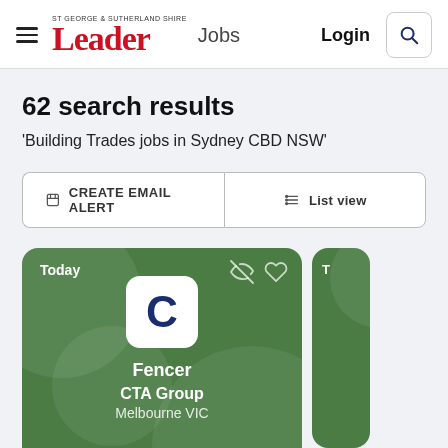Leader Jobs — Login
62 search results
'Building Trades jobs in Sydney CBD NSW'
CREATE EMAIL ALERT   List view
[Figure (screenshot): Job listing card for Fencer at CTA Group, Melbourne VIC, posted Today. Green card with company logo showing letter C.]